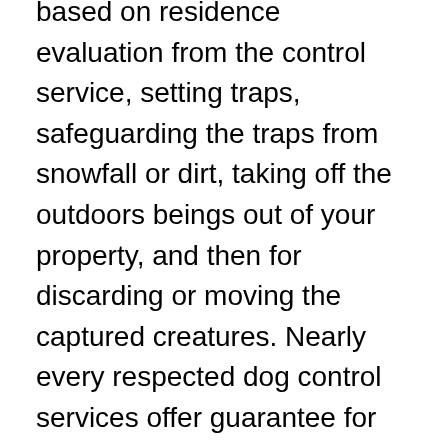based on residence evaluation from the control service, setting traps, safeguarding the traps from snowfall or dirt, taking off the outdoors beings out of your property, and then for discarding or moving the captured creatures. Nearly every respected dog control services offer guarantee for his or her professional services. So, by selecting this kind of services you receive a safe residence along with a bang for your buck.
If any part of your property has been ruined by crazy animals, your animal removal assistance will restoration it as well. For instance, if mice